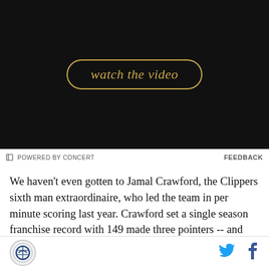[Figure (screenshot): Dark video banner with 'watch the video' text in gold italic inside a rounded rectangle border]
POWERED BY CONCERT   FEEDBACK
We haven't even gotten to Jamal Crawford, the Clippers sixth man extraordinaire, who led the team in per minute scoring last year. Crawford set a single season franchise record with 149 made three pointers -- and he'll be the third best three point shooter on this year's team. And as if all that weren't enough, after lining up next to the likes of Kenyon Martin and Reggie Evans and Ronny Turiaf and Lamar Odom, Blake Griffin, for essentially the first time in his career, will
Site logo, Twitter icon, Facebook icon